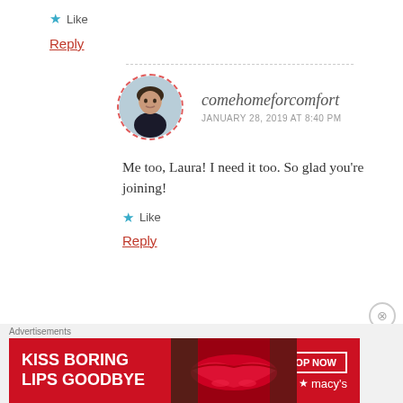★ Like
Reply
comehomeforcomfort
JANUARY 28, 2019 AT 8:40 PM
Me too, Laura! I need it too. So glad you're joining!
★ Like
Reply
[Figure (photo): Advertisement banner: KISS BORING LIPS GOODBYE with SHOP NOW button and macys star logo]
Advertisements